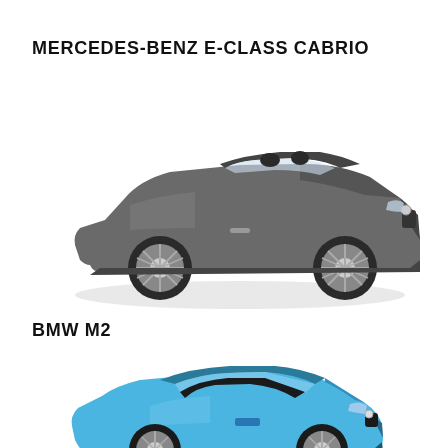MERCEDES-BENZ E-CLASS CABRIO
[Figure (photo): Grey Mercedes-Benz E-Class Cabrio convertible car shown from a 3/4 front angle on white background]
BMW M2
[Figure (photo): Blue BMW M2 sports car partially visible, shown from a 3/4 front angle on white background, cropped at bottom of page]